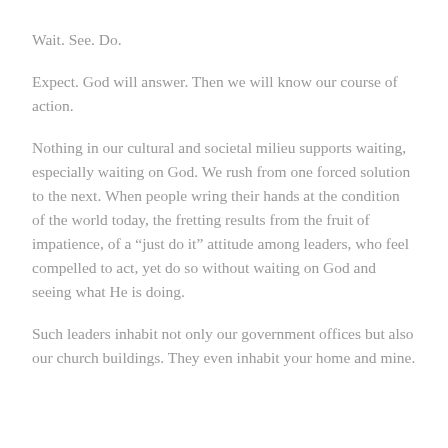Wait. See. Do.
Expect. God will answer. Then we will know our course of action.
Nothing in our cultural and societal milieu supports waiting, especially waiting on God. We rush from one forced solution to the next. When people wring their hands at the condition of the world today, the fretting results from the fruit of impatience, of a “just do it” attitude among leaders, who feel compelled to act, yet do so without waiting on God and seeing what He is doing.
Such leaders inhabit not only our government offices but also our church buildings. They even inhabit your home and mine.